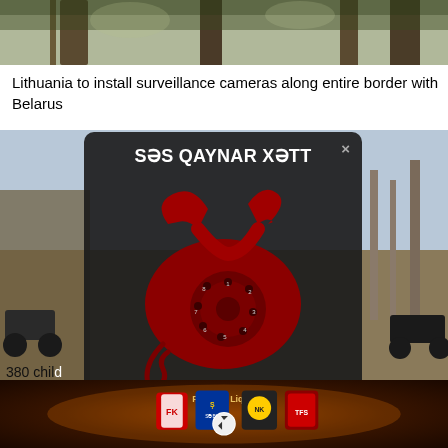[Figure (photo): Top strip photo showing tree trunks and foliage]
Lithuania to install surveillance cameras along entire border with Belarus
[Figure (screenshot): Dark popup overlay showing SƏS QAYNAR XƏTT (hotline) with image of a red rotary telephone, WhatsApp number (+994 50) 807 55 89, phone (012) 598 33 90, and email info@sia.az. A close button (×) is in the upper right.]
380 chil
[Figure (photo): Bottom banner showing Premyer Liqa (football/soccer premier league) logos and team crests on a dark fiery background]